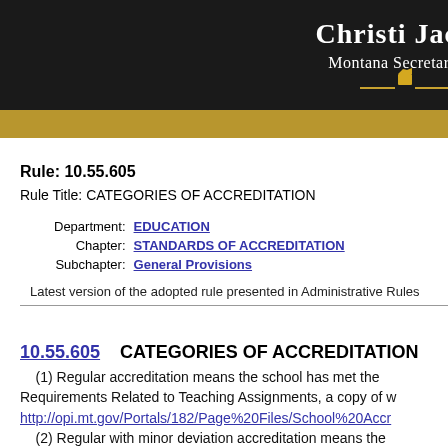Christi Jacobsen Montana Secretary
Rule: 10.55.605
Rule Title: CATEGORIES OF ACCREDITATION
| Label | Value |
| --- | --- |
| Department: | EDUCATION |
| Chapter: | STANDARDS OF ACCREDITATION |
| Subchapter: | General Provisions |
Latest version of the adopted rule presented in Administrative Rules
10.55.605    CATEGORIES OF ACCREDITATION
(1) Regular accreditation means the school has met the Requirements Related to Teaching Assignments, a copy of which may be found at: http://opi.mt.gov/Portals/182/Page%20Files/School%20Accr
(2) Regular with minor deviation accreditation means the Reference Guide, a copy of which may be found at: http://opi.mt.gov/Portals/182/Page%20Files/School%20Accr ver=2019-06-13-113341-203.
(3) A school with regular accreditation with a deviation in